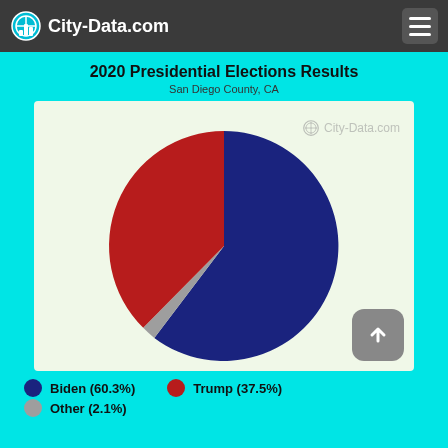City-Data.com
2020 Presidential Elections Results
San Diego County, CA
[Figure (pie-chart): 2020 Presidential Elections Results - San Diego County, CA]
Biden (60.3%)   Trump (37.5%)
Other (2.1%)